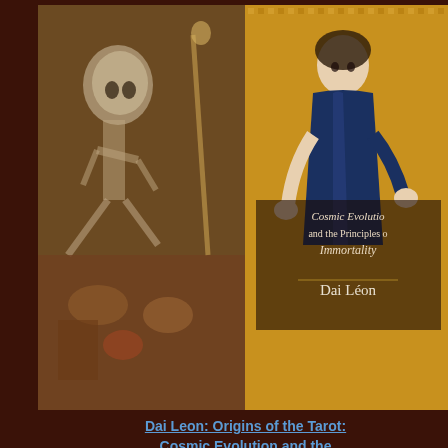[Figure (illustration): Book cover for 'Origins of the Tarot: Cosmic Evolution and the Principles of Immortality' by Dai Leon. Left side shows a medieval/Renaissance painting with skeletal figures and dramatic scenes. Right side shows a woman in a blue robe against a golden mosaic background, with the book title text and author name Dai Leon overlaid.]
Dai Leon: Origins of the Tarot: Cosmic Evolution and the Principles of Immortality
[Figure (illustration): Book cover for 'Qabalah: The Mystical Heritage of the Children of Abraham'. Black background with 'Qabalah' in red decorative script at top. Below are two white hands with Hebrew letters and red X marks on the palms. At the bottom: 'The Mystical Heritage of the Children of Abraham' in white italic text.]